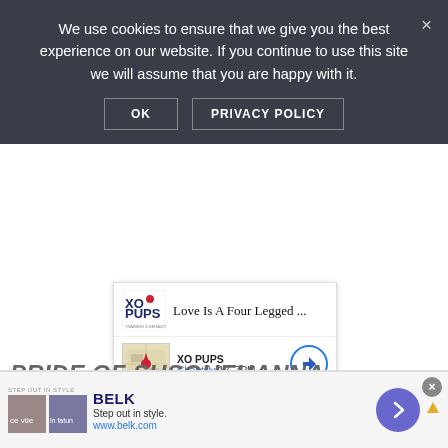We use cookies to ensure that we give you the best experience on our website. If you continue to use this site we will assume that you are happy with it.
OK   PRIVACY POLICY
[Figure (photo): Close-up photo of a dog's face/nose, partially visible behind the ad card]
[Figure (other): XO Pups advertisement card showing logo, 'Love Is A Four Legged ...', map thumbnail, store name XO PUPS, location Chantilly 12-7PM, and navigation circle icon]
PRIDE OF SUSQUEHANNA RIVERBOAT
[Figure (other): Belk advertisement banner: Step out in style. www.belk.com with thumbnail images and navigation arrow]